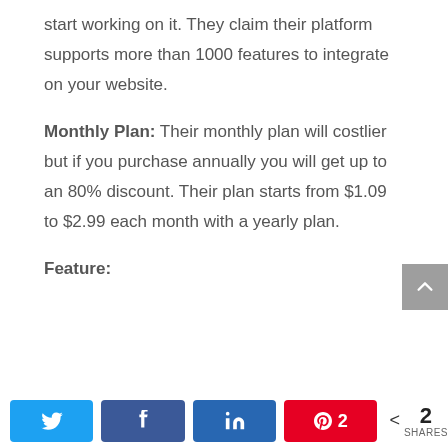start working on it. They claim their platform supports more than 1000 features to integrate on your website.
Monthly Plan: Their monthly plan will costlier but if you purchase annually you will get up to an 80% discount. Their plan starts from $1.09 to $2.99 each month with a yearly plan.
Feature:
Free & easy to use
[Figure (other): Social share bar with Twitter, Facebook, LinkedIn, Pinterest (2 shares) buttons and total share count of 2]